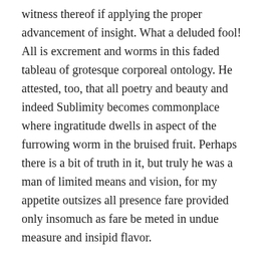witness thereof if applying the proper advancement of insight. What a deluded fool! All is excrement and worms in this faded tableau of grotesque corporeal ontology. He attested, too, that all poetry and beauty and indeed Sublimity becomes commonplace where ingratitude dwells in aspect of the furrowing worm in the bruised fruit. Perhaps there is a bit of truth in it, but truly he was a man of limited means and vision, for my appetite outsizes all presence fare provided only insomuch as fare be meted in undue measure and insipid flavor.
How many such self-proclaimed poets have scoured the spheres as I have to seek such phantasia equal to jaded imagination? Perhaps if such people lived longer they would experience enough to understand the ineptitude